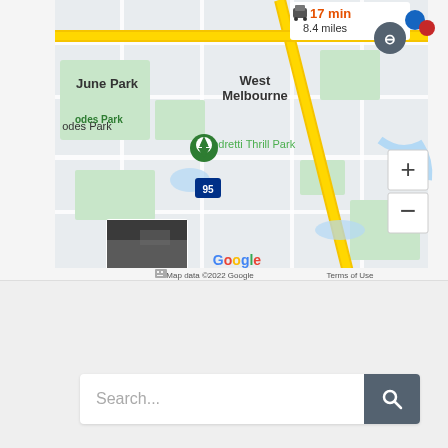[Figure (map): Google Maps screenshot showing West Melbourne, Florida area with June Park, Rhodes Park, Andretti Thrill Park, I-95 highway. Shows driving directions: 17 min, 8.4 miles. Map data ©2022 Google. Zoom controls (+/-) visible. Small street-level photo thumbnail in lower left.]
Our Newest Profiles
Search...